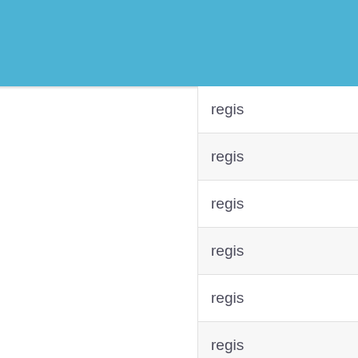regis
regis
regis
regis
regis
regis
regis